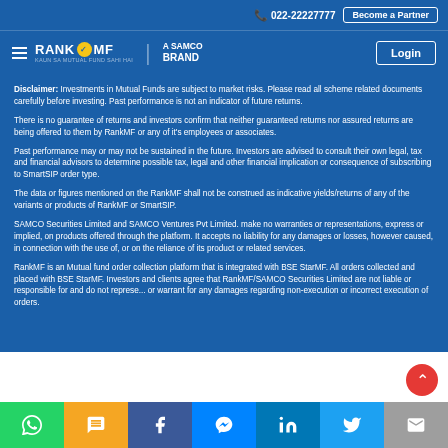022-22227777 | Become a Partner
[Figure (logo): RankMF - A Samco Brand logo with hamburger menu and Login button]
Disclaimer: Investments in Mutual Funds are subject to market risks. Please read all scheme related documents carefully before investing. Past performance is not an indicator of future returns.
There is no guarantee of returns and investors confirm that neither guaranteed returns nor assured returns are being offered to them by RankMF or any of it's employees or associates.
Past performance may or may not be sustained in the future. Investors are advised to consult their own legal, tax and financial advisors to determine possible tax, legal and other financial implication or consequence of subscribing to SmartSIP order type.
The data or figures mentioned on the RankMF shall not be construed as indicative yields/returns of any of the variants or products of RankMF or SmartSIP.
SAMCO Securities Limited and SAMCO Ventures Pvt Limited. make no warranties or representations, express or implied, on products offered through the platform. It accepts no liability for any damages or losses, however caused, in connection with the use of, or on the reliance of its product or related services.
RankMF is an Mutual fund order collection platform that is integrated with BSE StarMF. All orders collected and placed with BSE StarMF. Investors and clients agree that RankMF/SAMCO Securities Limited are not liable or responsible for and do not represent or warrant for any damages regarding non-execution or incorrect execution of orders.